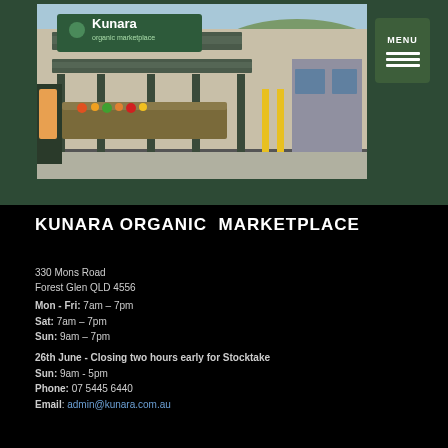[Figure (photo): Exterior photo of Kunara Organic Marketplace store with green signage, covered outdoor market area, and parking lot]
KUNARA ORGANIC MARKETPLACE
330 Mons Road
Forest Glen QLD 4556
Mon - Fri: 7am – 7pm
Sat: 7am – 7pm
Sun: 9am – 7pm
26th June - Closing two hours early for Stocktake
Sun: 9am - 5pm
Phone: 07 5445 6440
Email: admin@kunara.com.au